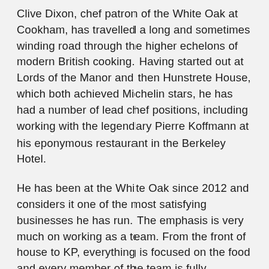Clive Dixon, chef patron of the White Oak at Cookham, has travelled a long and sometimes winding road through the higher echelons of modern British cooking. Having started out at Lords of the Manor and then Hunstrete House, which both achieved Michelin stars, he has had a number of lead chef positions, including working with the legendary Pierre Koffmann at his eponymous restaurant in the Berkeley Hotel.
He has been at the White Oak since 2012 and considers it one of the most satisfying businesses he has run. The emphasis is very much on working as a team. From the front of house to KP, everything is focused on the food and every member of the team is fully